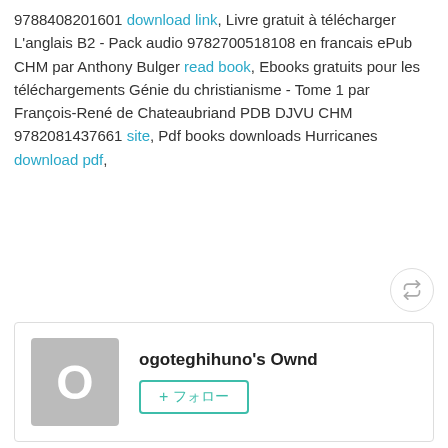9788408201601 download link, Livre gratuit à télécharger L'anglais B2 - Pack audio 9782700518108 en francais ePub CHM par Anthony Bulger read book, Ebooks gratuits pour les téléchargements Génie du christianisme - Tome 1 par François-René de Chateaubriand PDB DJVU CHM 9782081437661 site, Pdf books downloads Hurricanes download pdf,
[Figure (other): Retweet/repost icon button (circular button with retweet arrows)]
[Figure (other): Social share buttons: Facebook (f), Twitter (bird), Hatena Bookmark (B!), Pocket, Google+ (G+)]
[Figure (other): Profile card with grey avatar showing letter O and name ogoteghihuno's Ownd with a follow button]